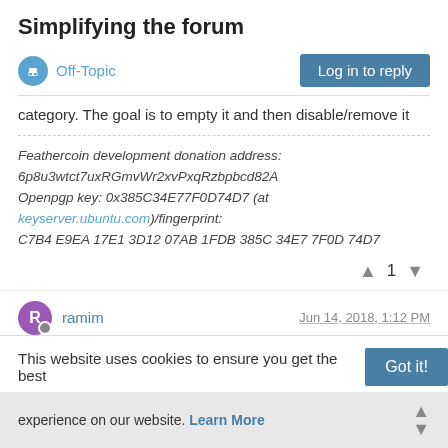Simplifying the forum
Off-Topic
Log in to reply
category. The goal is to empty it and then disable/remove it
Feathercoin development donation address:
6p8u3wtct7uxRGmvWr2xvPxqRzbpbcd82A
Openpgp key: 0x385C34E77F0D74D7 (at keyserver.ubuntu.com)/fingerprint:
C7B4 E9EA 17E1 3D12 07AB 1FDB 385C 34E7 7F0D 74D7
1
ramim
Jun 14, 2018, 1:12 PM
agree that it's a bit complicated for newbies to navigate through the forum. thanks to all the mods who work to clean up the space here! :thumbs_up:
This website uses cookies to ensure you get the best experience on our website. Learn More